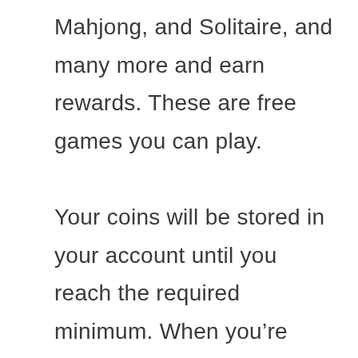Mahjong, and Solitaire, and many more and earn rewards. These are free games you can play.

Your coins will be stored in your account until you reach the required minimum. When you're ready to exchange your points then you can exchange them for a wide range of gift cards.